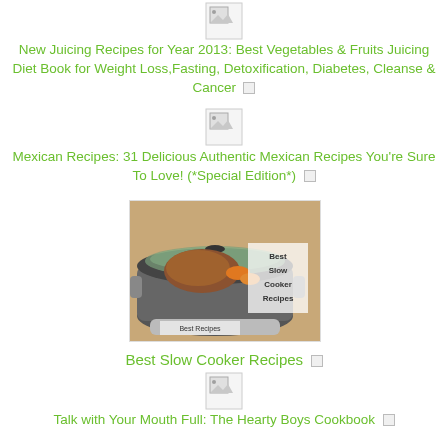[Figure (other): Broken image placeholder icon]
New Juicing Recipes for Year 2013: Best Vegetables & Fruits Juicing Diet Book for Weight Loss,Fasting, Detoxification, Diabetes, Cleanse & Cancer
[Figure (other): Broken image placeholder icon]
Mexican Recipes: 31 Delicious Authentic Mexican Recipes You're Sure To Love! (*Special Edition*)
[Figure (photo): Photo of a slow cooker with meat and vegetables, with text 'Best Slow Cooker Recipes' and 'Best Recipes' overlay]
Best Slow Cooker Recipes
[Figure (other): Broken image placeholder icon]
Talk with Your Mouth Full: The Hearty Boys Cookbook